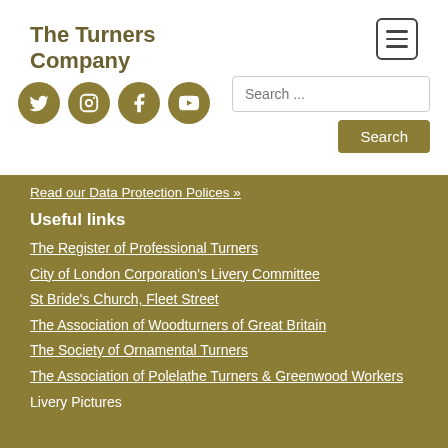The Turners Company
[Figure (illustration): Hamburger menu icon button (three horizontal lines) in a rounded rectangle border]
[Figure (illustration): Social media icons: Twitter, Instagram, Facebook, YouTube — circular olive/tan colored buttons]
Search ...
Search
Read our Data Protection Polices »
Useful links
The Register of Professional Turners
City of London Corporation's Livery Committee
St Bride's Church, Fleet Street
The Association of Woodturners of Great Britain
The Society of Ornamental Turners
The Association of Polelathe Turners & Greenwood Workers
Livery Pictures